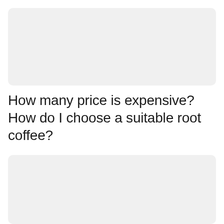[Figure (other): Light gray rounded rectangle placeholder box at top of page]
How many price is expensive? How do I choose a suitable root coffee?
[Figure (other): Light gray rounded rectangle placeholder box at bottom of page]